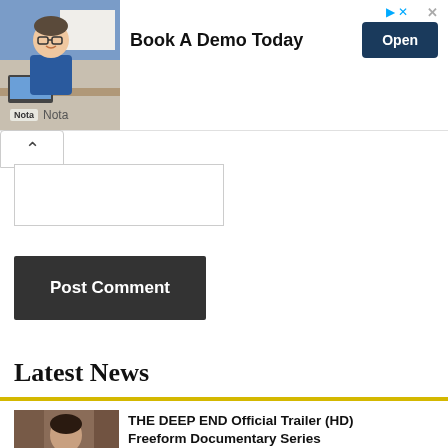[Figure (photo): Advertisement banner: man in blue shirt at desk with glasses, text 'Book A Demo Today', blue 'Open' button, Nota logo]
[Figure (screenshot): Collapse arrow button and comment text input box]
Post Comment
Latest News
[Figure (photo): Thumbnail of a woman, news item: THE DEEP END Official Trailer (HD) Freeform Documentary Series]